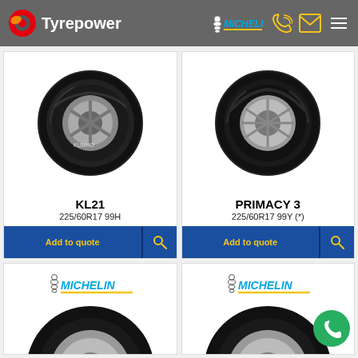Tyrepower — website header with logo, Michelin brand, phone and email icons, hamburger menu
[Figure (photo): Kumho KL21 tyre product image, black tyre on white background]
KL21
225/60R17 99H
Add to quote
[Figure (photo): Michelin Primacy 3 tyre product image, black tyre on white background]
PRIMACY 3
225/60R17 99Y (*)
Add to quote
[Figure (logo): Michelin logo with Bibendum mascot and yellow underline, bottom left card]
[Figure (photo): Partial tyre image at bottom of page, bottom left card]
[Figure (logo): Michelin logo with Bibendum mascot and yellow underline, bottom right card]
[Figure (photo): Partial tyre image at bottom of page, bottom right card]